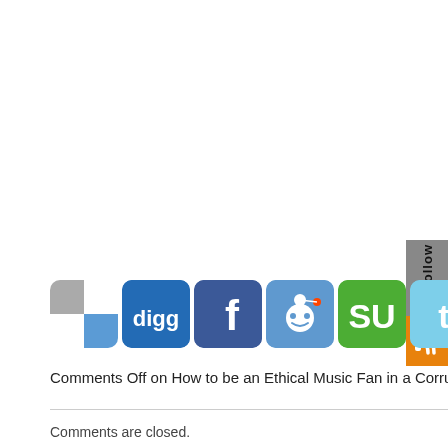[Figure (other): Sidebar follow widget with RSS icon and rotated 'follow' text label on grey background]
[Figure (other): Row of social sharing icons: Delicious (checkered), Digg, Facebook, Reddit, StumbleUpon, Twitter, RSS]
Comments Off on How to be an Ethical Music Fan in a Corrupt Wo
Comments are closed.